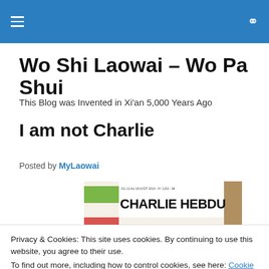Wo Shi Laowai – Wo Pa Shui (navigation bar)
Wo Shi Laowai – Wo Pa Shui
This Blog was Invented in Xi'an 5,000 Years Ago
I am not Charlie
Posted by MyLaowai
[Figure (photo): Charlie Hebdo magazine cover showing the CHARLIE HEBDU masthead in large bold letters]
Privacy & Cookies: This site uses cookies. By continuing to use this website, you agree to their use.
To find out more, including how to control cookies, see here: Cookie Policy
Close and accept